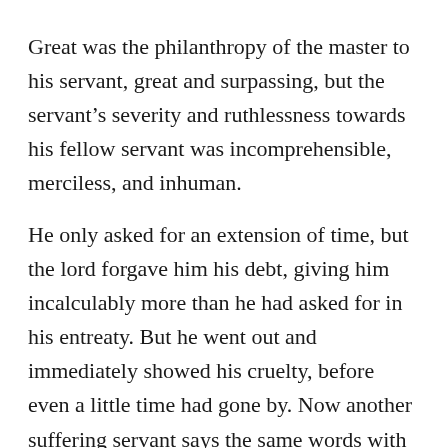Great was the philanthropy of the master to his servant, great and surpassing, but the servant's severity and ruthlessness towards his fellow servant was incomprehensible, merciless, and inhuman.
He only asked for an extension of time, but the lord forgave him his debt, giving him incalculably more than he had asked for in his entreaty. But he went out and immediately showed his cruelty, before even a little time had gone by. Now another suffering servant says the same words with which the merciless man